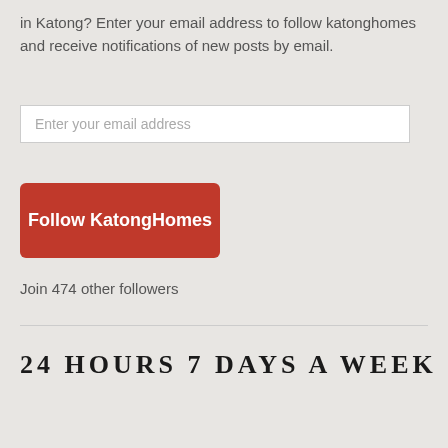in Katong? Enter your email address to follow katonghomes and receive notifications of new posts by email.
[Figure (other): Email input text field with placeholder 'Enter your email address']
[Figure (other): Red button labeled 'Follow KatongHomes']
Join 474 other followers
24 HOURS 7 DAYS A WEEK